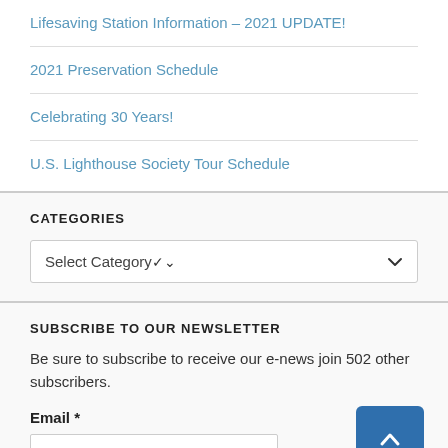Lifesaving Station Information – 2021 UPDATE!
2021 Preservation Schedule
Celebrating 30 Years!
U.S. Lighthouse Society Tour Schedule
CATEGORIES
Select Category
SUBSCRIBE TO OUR NEWSLETTER
Be sure to subscribe to receive our e-news join 502 other subscribers.
Email *